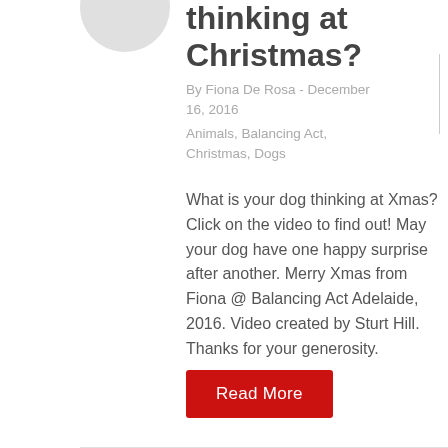[Figure (illustration): Circular avatar placeholder image, light grey circle]
thinking at Christmas?
By Fiona De Rosa - December 16, 2016
Animals, Balancing Act, Christmas, Dogs
What is your dog thinking at Xmas? Click on the video to find out! May your dog have one happy surprise after another. Merry Xmas from Fiona @ Balancing Act Adelaide, 2016. Video created by Sturt Hill. Thanks for your generosity.
Read More